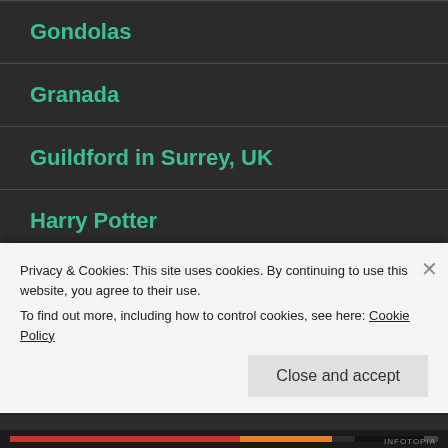Gondolas
Granada
Guildford in Surrey, UK
Harry Potter
Henry Moore
Holland
Privacy & Cookies: This site uses cookies. By continuing to use this website, you agree to their use.
To find out more, including how to control cookies, see here: Cookie Policy
Close and accept